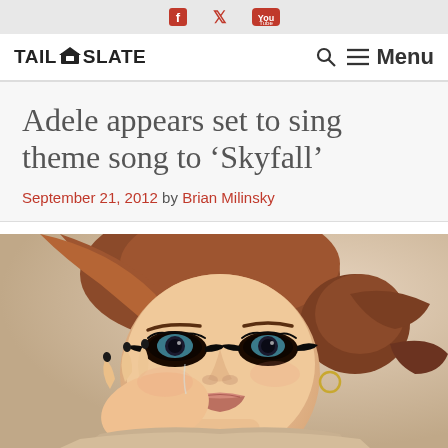Social icons: Facebook, Twitter, YouTube
TAIL SLATE — Search Menu
Adele appears set to sing theme song to ‘Skyfall’
September 21, 2012 by Brian Milinsky
[Figure (photo): Close-up photo of Adele with auburn upswept hair, dramatic eye makeup, resting her chin on her hand]